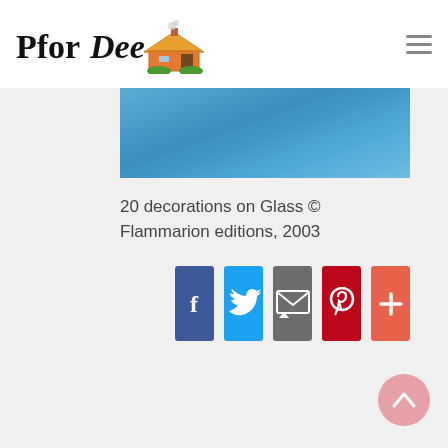PforDee [logo with house icon] [hamburger menu]
[Figure (photo): Blue textured image strip at the top of article content area]
20 decorations on Glass © Flammarion editions, 2003
[Figure (infographic): Social sharing buttons: Facebook (blue), Twitter (light blue), Email (gray), Pinterest (red), More/plus (orange-red)]